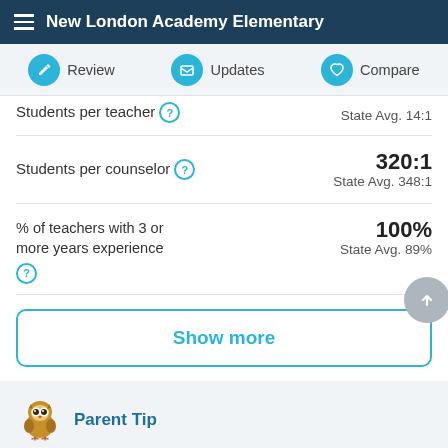New London Academy Elementary
Review | Updates | Compare
Students per teacher ? State Avg. 14:1
Students per counselor ? 320:1 State Avg. 348:1
% of teachers with 3 or more years experience ? 100% State Avg. 89%
Show more
Parent Tip
What's the most important thing to look for in the